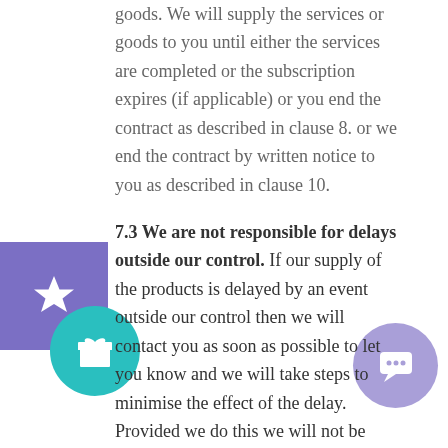goods. We will supply the services or goods to you until either the services are completed or the subscription expires (if applicable) or you end the contract as described in clause 8. or we end the contract by written notice to you as described in clause 10.
7.3 We are not responsible for delays outside our control.
If our supply of the products is delayed by an event outside our control then we will contact you as soon as possible to let you know and we will take steps to minimise the effect of the delay. Provided we do this we will not be liable for delays caused by the ev... but if there is a risk of substantia... delay you may contact us to end the